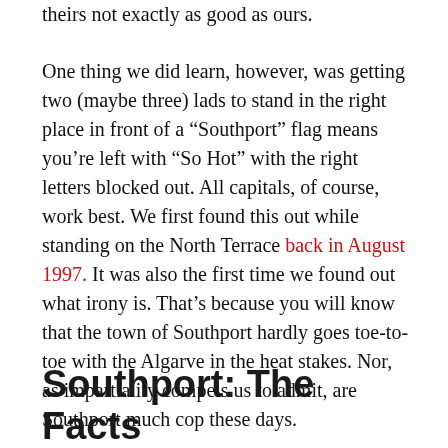theirs not exactly as good as ours.

One thing we did learn, however, was getting two (maybe three) lads to stand in the right place in front of a “Southport” flag means you’re left with “So Hot” with the right letters blocked out. All capitals, of course, work best. We first found this out while standing on the North Terrace back in August 1997. It was also the first time we found out what irony is. That’s because you will know that the town of Southport hardly goes toe-to-toe with the Algarve in the heat stakes. Nor, as impartiality compels us to admit, are Southport much cop these days.
Southport: The Facts